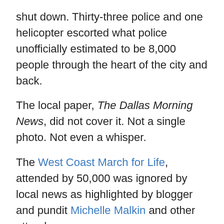shut down. Thirty-three police and one helicopter escorted what police unofficially estimated to be 8,000 people through the heart of the city and back.
The local paper, The Dallas Morning News, did not cover it. Not a single photo. Not even a whisper.
The West Coast March for Life, attended by 50,000 was ignored by local news as highlighted by blogger and pundit Michelle Malkin and other attendees.
In Washington D.C., a crowd that has been estimated as numbering between 100,000 and 400,000 people marched down Constitution Avenue to protest abortion. The New York Times did not report on it. They did, however, include in their "Happenings in